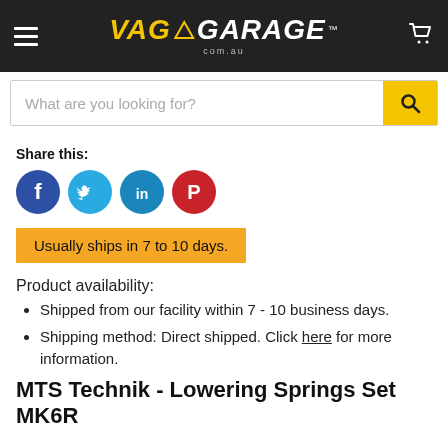VAG GARAGE com.au — navigation header with hamburger menu, logo, and cart icon
[Figure (screenshot): Search bar with placeholder text 'What are you looking for?' and yellow search button with magnifying glass icon]
Share this:
[Figure (infographic): Social media share icons: Facebook (blue circle with f), Twitter (light blue circle with bird), LinkedIn (teal circle with in), Pinterest (red circle with P)]
Usually ships in 7 to 10 days.
Product availability:
Shipped from our facility within 7 - 10 business days.
Shipping method: Direct shipped. Click here for more information.
MTS Technik - Lowering Springs Set MK6R